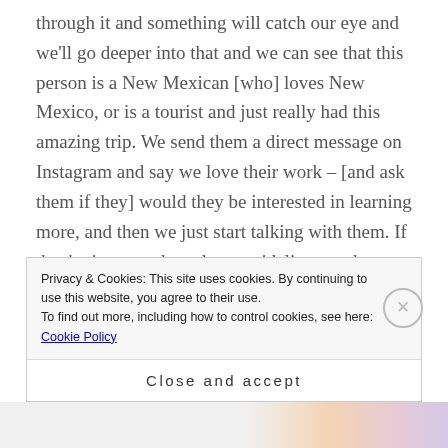through it and something will catch our eye and we'll go deeper into that and we can see that this person is a New Mexican [who] loves New Mexico, or is a tourist and just really had this amazing trip. We send them a direct message on Instagram and say we love their work – [and ask them if they] would they be interested in learning more, and then we just start talking with them. If they're interested, we have guidelines, and we send them those, and then we schedule 'em. What we try to do is we'll schedule it so there's always different areas of the state being featured, so it's not like three
Privacy & Cookies: This site uses cookies. By continuing to use this website, you agree to their use.
To find out more, including how to control cookies, see here: Cookie Policy
Close and accept